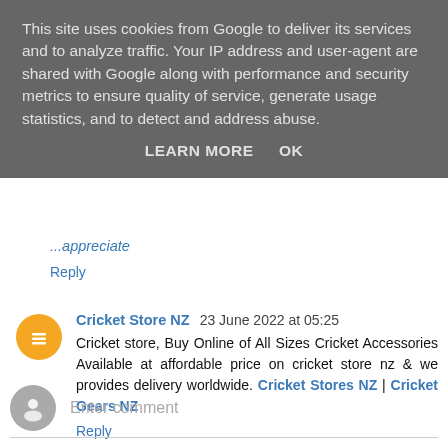This site uses cookies from Google to deliver its services and to analyze traffic. Your IP address and user-agent are shared with Google along with performance and security metrics to ensure quality of service, generate usage statistics, and to detect and address abuse.
LEARN MORE   OK
...appreciate
Reply
Cricket Store NZ  23 June 2022 at 05:25
Cricket store, Buy Online of All Sizes Cricket Accessories Available at affordable price on cricket store nz & we provides delivery worldwide. Cricket Stores NZ | Cricket Gears NZ
Reply
Enter comment